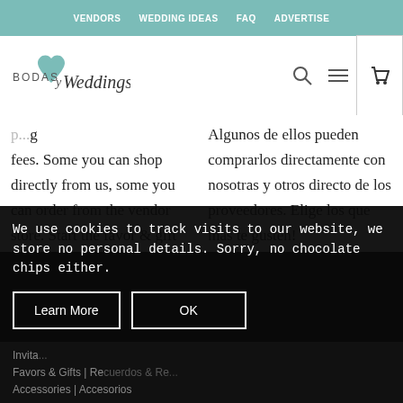VENDORS  WEDDING IDEAS  FAQ  ADVERTISE
[Figure (logo): Bodas y Weddings logo with teal heart]
fees. Some you can shop directly from us, some you can order from the vendor store. Start the favor & gift hunt!
Algunos de ellos pueden comprarlos directamente con nosotras y otros directo de los proveedores. Elige los que mas te gusten!
We use cookies to track visits to our website, we store no personal details. Sorry, no chocolate chips either.
Learn More
OK
Invita... | ...  Favors & Gifts | Recuerdos & Re...  Accessories | Accesorios